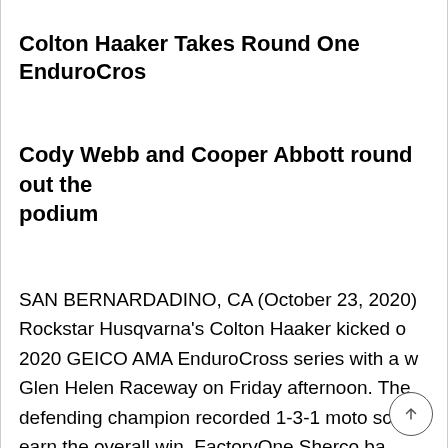Colton Haaker Takes Round One EnduroCros
Cody Webb and Cooper Abbott round out the podium
SAN BERNARDADINO, CA (October 23, 2020) Rockstar Husqvarna’s Colton Haaker kicked o 2020 GEICO AMA EnduroCross series with a w Glen Helen Raceway on Friday afternoon. The defending champion recorded 1-3-1 moto sco earn the overall win. FactoryOne Sherco ba